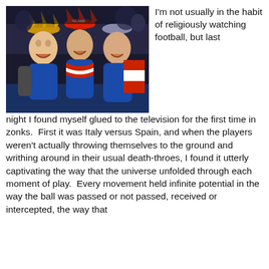[Figure (photo): Three male football fans wearing Viking horns hats and blue Iceland jerseys/scarves, smiling at the camera in a stadium setting]
I'm not usually in the habit of religiously watching football, but last night I found myself glued to the television for the first time in zonks.  First it was Italy versus Spain, and when the players weren't actually throwing themselves to the ground and writhing around in their usual death-throes, I found it utterly captivating the way that the universe unfolded through each moment of play.  Every movement held infinite potential in the way the ball was passed or not passed, received or intercepted, the way that